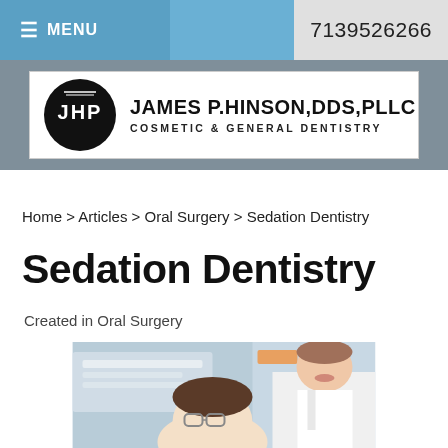≡ MENU   7139526266
[Figure (logo): James P. Hinson, DDS, PLLC — Cosmetic & General Dentistry logo with circular JHP emblem]
Home > Articles > Oral Surgery > Sedation Dentistry
Sedation Dentistry
Created in Oral Surgery
[Figure (photo): Photo of a dental professional and a patient in a dental office setting]